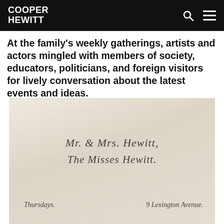COOPER HEWITT
At the family's weekly gatherings, artists and actors mingled with members of society, educators, politicians, and foreign visitors for lively conversation about the latest events and ideas.
[Figure (photo): Photograph of a vintage calling card or social invitation card with cursive calligraphic text reading 'Mr. & Mrs. Hewitt, The Misses Hewitt.' with 'Thursdays.' in lower left and '9 Lexington Avenue.' in lower right, on aged cream/ivory paper.]